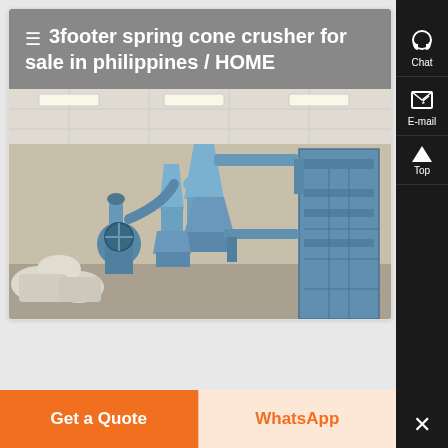≡ 3footer spring cone crusher for sale in philippines / HOME
[Figure (photo): Blue industrial machinery (cone crusher / dust collector system) installed in a factory building with white bagged materials on the floor]
Chat
E-mail
Top
Get a Quote
WhatsApp